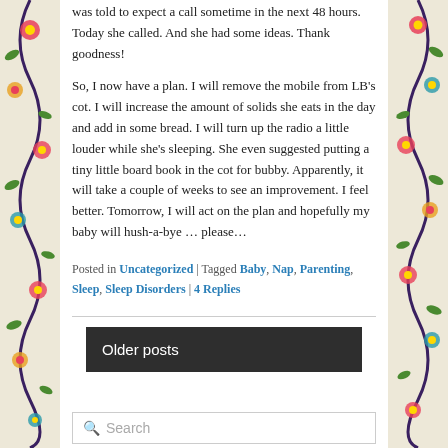was told to expect a call sometime in the next 48 hours. Today she called. And she had some ideas. Thank goodness!
So, I now have a plan. I will remove the mobile from LB's cot. I will increase the amount of solids she eats in the day and add in some bread. I will turn up the radio a little louder while she's sleeping. She even suggested putting a tiny little board book in the cot for bubby. Apparently, it will take a couple of weeks to see an improvement. I feel better. Tomorrow, I will act on the plan and hopefully my baby will hush-a-bye … please…
Posted in Uncategorized | Tagged Baby, Nap, Parenting, Sleep, Sleep Disorders | 4 Replies
Older posts
Search